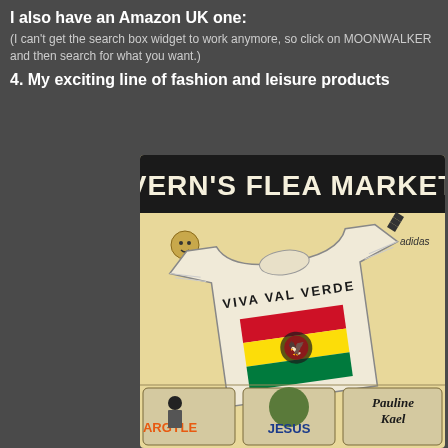I also have an Amazon UK one:
(I can't get the search box widget to work anymore, so click on MOONWALKER and then search for what you want.)
4. My exciting line of fashion and leisure products
[Figure (illustration): Vern's Flea Market advertisement image showing a retro-style Adidas shirt with 'VIVA VAL VERDE' text and a flag design, with smaller panels at the bottom showing cartoon-style figures labeled ARGYLE, JESUS, and Pauline Kael]